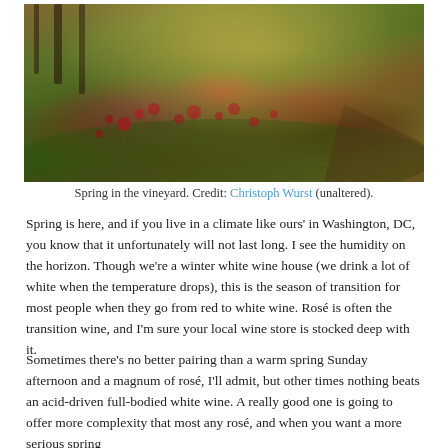[Figure (photo): Close-up photograph of spring flowers (red/burgundy blooms) growing in a vineyard with green grass and soil path, warm golden bokeh background]
Spring in the vineyard. Credit: Christoph Wurst (unaltered).
Spring is here, and if you live in a climate like ours' in Washington, DC, you know that it unfortunately will not last long. I see the humidity on the horizon. Though we're a winter white wine house (we drink a lot of white when the temperature drops), this is the season of transition for most people when they go from red to white wine. Rosé is often the transition wine, and I'm sure your local wine store is stocked deep with it.
Sometimes there's no better pairing than a warm spring Sunday afternoon and a magnum of rosé, I'll admit, but other times nothing beats an acid-driven full-bodied white wine. A really good one is going to offer more complexity that most any rosé, and when you want a more serious spring